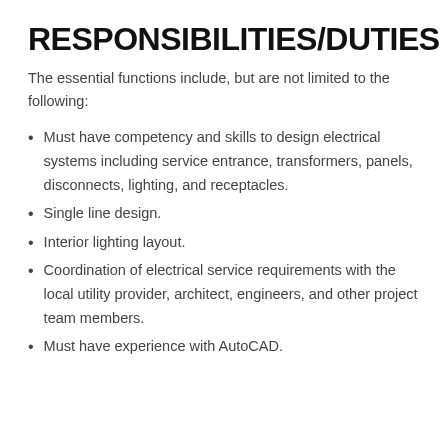RESPONSIBILITIES/DUTIES
The essential functions include, but are not limited to the following:
Must have competency and skills to design electrical systems including service entrance, transformers, panels, disconnects, lighting, and receptacles.
Single line design.
Interior lighting layout.
Coordination of electrical service requirements with the local utility provider, architect, engineers, and other project team members.
Must have experience with AutoCAD.